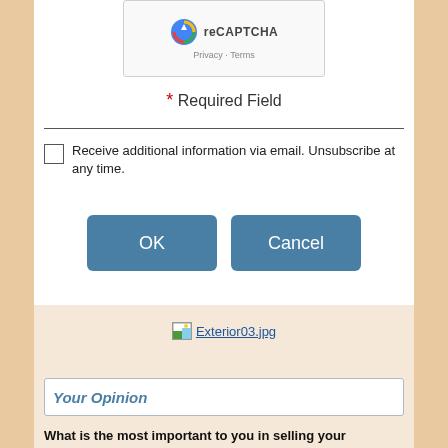[Figure (screenshot): reCAPTCHA widget showing the reCAPTCHA logo, text 'reCAPTCHA', and links 'Privacy - Terms']
* Required Field
Receive additional information via email. Unsubscribe at any time.
[Figure (screenshot): OK and Cancel buttons, styled in steel blue]
[Figure (photo): Exterior03.jpg image placeholder with broken image icon]
Your Opinion
What is the most important to you in selling your